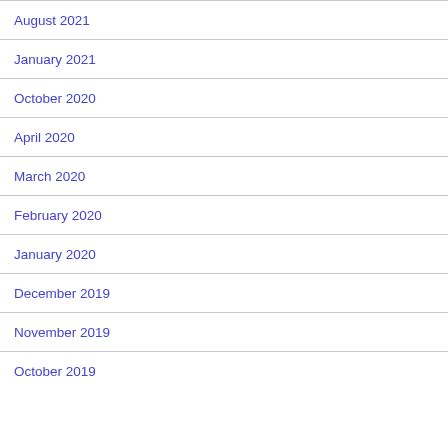August 2021
January 2021
October 2020
April 2020
March 2020
February 2020
January 2020
December 2019
November 2019
October 2019